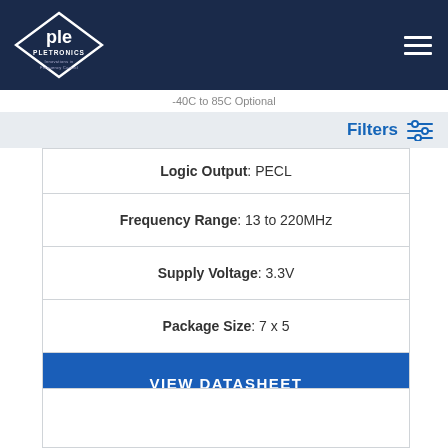Pletronics - Innovations in Frequency Control
-40C to 85C Optional
Filters
Logic Output: PECL
Frequency Range: 13 to 220MHz
Supply Voltage: 3.3V
Package Size: 7 x 5
VIEW DATASHEET